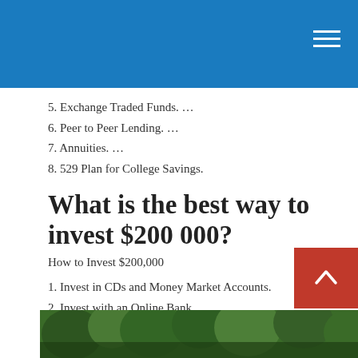5. Exchange Traded Funds. …
6. Peer to Peer Lending. …
7. Annuities. …
8. 529 Plan for College Savings.
What is the best way to invest $200 000?
How to Invest $200,000
1. Invest in CDs and Money Market Accounts.
2. Invest with an Online Bank.
3. Invest in Bonds.
4. Invest in Stocks.
5. Invest in Peer-to-Peer Lending.
6. Try Real Estate Investing with Fundrise.
[Figure (photo): Outdoor nature/trees photo strip at bottom of page]